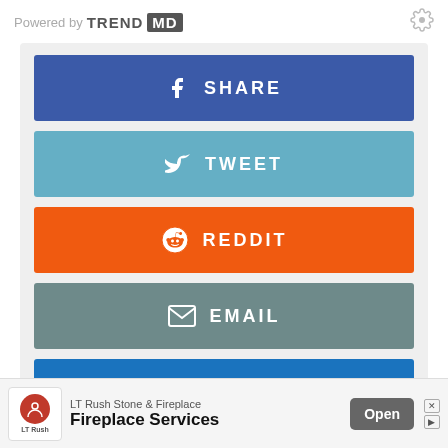Powered by TREND MD
[Figure (screenshot): Social share buttons panel with Facebook SHARE (blue), Twitter TWEET (light blue), Reddit REDDIT (orange), Email EMAIL (grey-teal), LinkedIn SHARE (blue) buttons on a light grey background]
< Previous post   Next post >
[Figure (infographic): Advertisement banner for LT Rush Stone & Fireplace — Fireplace Services, with Open button]